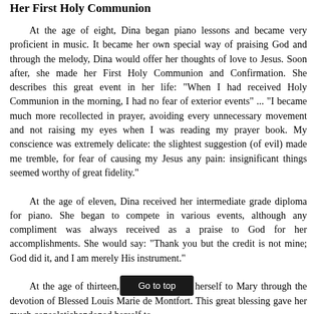Her First Holy Communion
At the age of eight, Dina began piano lessons and became very proficient in music. It became her own special way of praising God and through the melody, Dina would offer her thoughts of love to Jesus. Soon after, she made her First Holy Communion and Confirmation. She describes this great event in her life: "When I had received Holy Communion in the morning, I had no fear of exterior events" ... "I became much more recollected in prayer, avoiding every unnecessary movement and not raising my eyes when I was reading my prayer book. My conscience was extremely delicate: the slightest suggestion (of evil) made me tremble, for fear of causing my Jesus any pain: insignificant things seemed worthy of great fidelity."
At the age of eleven, Dina received her intermediate grade diploma for piano. She began to compete in various events, although any compliment was always received as a praise to God for her accomplishments. She would say: "Thank you but the credit is not mine; God did it, and I am merely His instrument."
At the age of thirteen, Dina consecrated herself to Mary through the devotion of Blessed Louis Marie de Montfort. This great blessing gave her much consolati... abandoned herself to